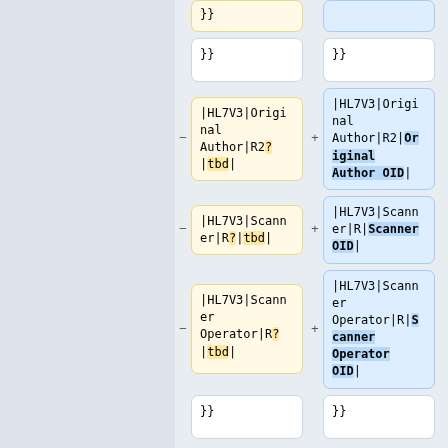}}
}}
}}
}}
|HL7V3|OriginalAuthor|R2?|tbd|
|HL7V3|OriginalAuthor|R2|Original Author OID|
|HL7V3|Scanner|R?|tbd|
|HL7V3|Scanner|R|Scanner OID|
|HL7V3|Scanner Operator|R?|tbd|
|HL7V3|Scanner Operator|R|Scanner Operator OID|
}}
}}